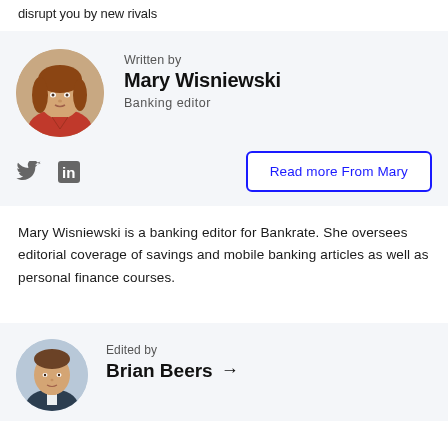disrupt you by new rivals
Written by
Mary Wisniewski
Banking editor
[Figure (photo): Circular headshot photo of Mary Wisniewski, a woman with auburn/brown hair wearing a red top]
[Figure (other): Twitter bird icon and LinkedIn 'in' icon social media links]
Read more From Mary
Mary Wisniewski is a banking editor for Bankrate. She oversees editorial coverage of savings and mobile banking articles as well as personal finance courses.
Edited by
Brian Beers →
[Figure (photo): Circular headshot photo of Brian Beers, a man with short brown hair]